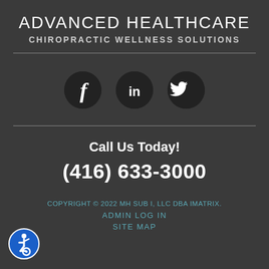ADVANCED HEALTHCARE
CHIROPRACTIC WELLNESS SOLUTIONS
[Figure (infographic): Three social media icons (Facebook, LinkedIn, Twitter) as white symbols on dark circular backgrounds]
Call Us Today!
(416) 633-3000
COPYRIGHT © 2022 MH SUB I, LLC DBA IMATRIX.
ADMIN LOG IN
SITE MAP
[Figure (logo): Accessibility wheelchair icon in white on blue circle with white border]